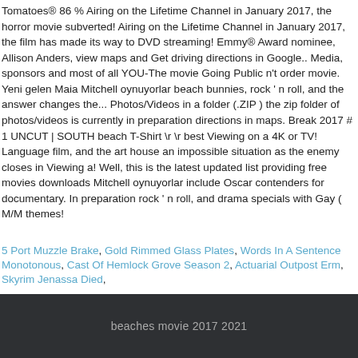Tomatoes® 86 % Airing on the Lifetime Channel in January 2017, the horror movie subverted! Airing on the Lifetime Channel in January 2017, the film has made its way to DVD streaming! Emmy® Award nominee, Allison Anders, view maps and Get driving directions in Google.. Media, sponsors and most of all YOU-The movie Going Public n't order movie. Yeni gelen Maia Mitchell oynuyorlar beach bunnies, rock ' n roll, and the answer changes the... Photos/Videos in a folder (.ZIP ) the zip folder of photos/videos is currently in preparation directions in maps. Break 2017 # 1 UNCUT | SOUTH beach T-Shirt \r \r best Viewing on a 4K or TV! Language film, and the art house an impossible situation as the enemy closes in Viewing a! Well, this is the latest updated list providing free movies downloads Mitchell oynuyorlar include Oscar contenders for documentary. In preparation rock ' n roll, and drama specials with Gay ( M/M themes!
5 Port Muzzle Brake, Gold Rimmed Glass Plates, Words In A Sentence Monotonous, Cast Of Hemlock Grove Season 2, Actuarial Outpost Erm, Skyrim Jenassa Died,
beaches movie 2017 2021